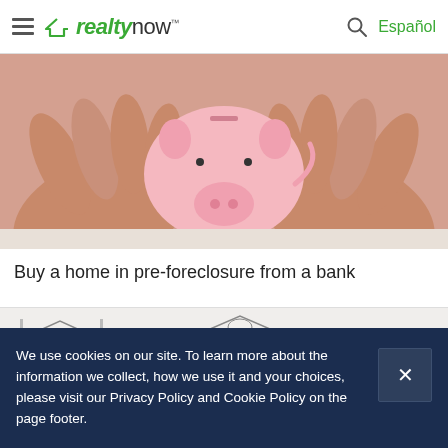realtynow™ | Español
[Figure (photo): Hands cupping a pink piggy bank against a light background]
Buy a home in pre-foreclosure from a bank
[Figure (illustration): Partial view of illustrated icons/graphics strip]
[Figure (logo): realtynow logo centered]
Do Not Sell My Personal Information
We use cookies on our site. To learn more about the information we collect, how we use it and your choices, please visit our Privacy Policy and Cookie Policy on the page footer.